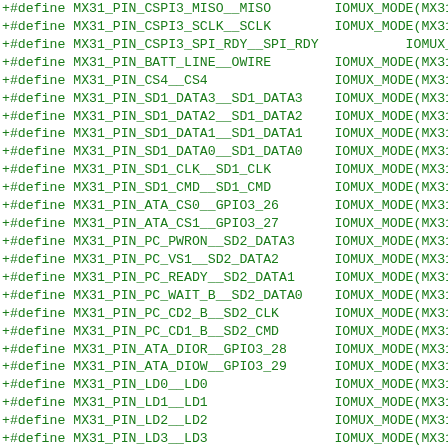+#define MX31_PIN_CSPI3_MISO__MISO        IOMUX_MODE(MX31_PIN_C
+#define MX31_PIN_CSPI3_SCLK__SCLK        IOMUX_MODE(MX31_PIN_C
+#define MX31_PIN_CSPI3_SPI_RDY__SPI_RDY  IOMUX_MODE(MX
+#define MX31_PIN_BATT_LINE__OWIRE        IOMUX_MODE(MX31_PIN_B
+#define MX31_PIN_CS4__CS4                IOMUX_MODE(MX31_PIN_C
+#define MX31_PIN_SD1_DATA3__SD1_DATA3    IOMUX_MODE(MX31_PIN_S
+#define MX31_PIN_SD1_DATA2__SD1_DATA2    IOMUX_MODE(MX31_PIN_S
+#define MX31_PIN_SD1_DATA1__SD1_DATA1    IOMUX_MODE(MX31_PIN_S
+#define MX31_PIN_SD1_DATA0__SD1_DATA0    IOMUX_MODE(MX31_PIN_S
+#define MX31_PIN_SD1_CLK__SD1_CLK        IOMUX_MODE(MX31_PIN_S
+#define MX31_PIN_SD1_CMD__SD1_CMD        IOMUX_MODE(MX31_PIN_S
+#define MX31_PIN_ATA_CS0__GPIO3_26       IOMUX_MODE(MX31_PIN_A
+#define MX31_PIN_ATA_CS1__GPIO3_27       IOMUX_MODE(MX31_PIN_A
+#define MX31_PIN_PC_PWRON__SD2_DATA3     IOMUX_MODE(MX31_PIN_P
+#define MX31_PIN_PC_VS1__SD2_DATA2       IOMUX_MODE(MX31_PIN_P
+#define MX31_PIN_PC_READY__SD2_DATA1     IOMUX_MODE(MX31_PIN_P
+#define MX31_PIN_PC_WAIT_B__SD2_DATA0    IOMUX_MODE(MX31_PIN_P
+#define MX31_PIN_PC_CD2_B__SD2_CLK       IOMUX_MODE(MX31_PIN_P
+#define MX31_PIN_PC_CD1_B__SD2_CMD       IOMUX_MODE(MX31_PIN_P
+#define MX31_PIN_ATA_DIOR__GPIO3_28      IOMUX_MODE(MX31_PIN_A
+#define MX31_PIN_ATA_DIOW__GPIO3_29      IOMUX_MODE(MX31_PIN_A
+#define MX31_PIN_LD0__LD0                IOMUX_MODE(MX31_PIN_L
+#define MX31_PIN_LD1__LD1                IOMUX_MODE(MX31_PIN_L
+#define MX31_PIN_LD2__LD2                IOMUX_MODE(MX31_PIN_L
+#define MX31_PIN_LD3__LD3                IOMUX_MODE(MX31_PIN_L